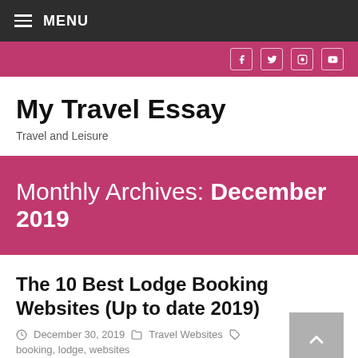MENU
My Travel Essay
Travel and Leisure
Monthly Archives: December 2019
The 10 Best Lodge Booking Websites (Up to date 2019)
December 30, 2019   Travel Websites   booking, lodge, websites